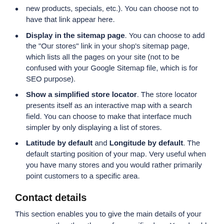new products, specials, etc.). You can choose not to have that link appear here.
Display in the sitemap page. You can choose to add the "Our stores" link in your shop's sitemap page, which lists all the pages on your site (not to be confused with your Google Sitemap file, which is for SEO purpose).
Show a simplified store locator. The store locator presents itself as an interactive map with a search field. You can choose to make that interface much simpler by only displaying a list of stores.
Latitude by default and Longitude by default. The default starting position of your map. Very useful when you have many stores and you would rather primarily point customers to a specific area.
Contact details
This section enables you to give the main details of your company, rather than those of a specific shop. You should fill all the fields with information on your headquarters, as this is certainly the address customers will use to contact you, or even visit you.